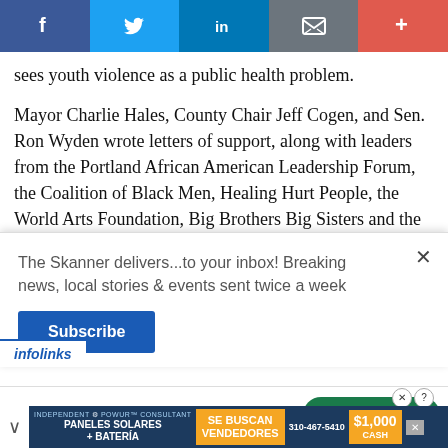[Figure (other): Social sharing toolbar with Facebook, Twitter, LinkedIn, email/envelope, and plus (+) buttons]
sees youth violence as a public health problem.
Mayor Charlie Hales, County Chair Jeff Cogen, and Sen. Ron Wyden wrote letters of support, along with leaders from the Portland African American Leadership Forum, the Coalition of Black Men, Healing Hurt People, the World Arts Foundation, Big Brothers Big Sisters and the
The Skanner delivers...to your inbox! Breaking news, local stories & events sent twice a week
[Figure (other): Tally credit card payoff app advertisement with Download Now button]
[Figure (other): Solar panel advertisement in Spanish — PANELES SOLARES + BATERÍA, SE BUSCAN VENDEDORES, 310-467-5410, $1,000 CASH]